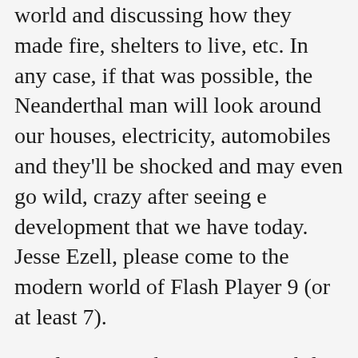world and discussing how they made fire, shelters to live, etc. In any case, if that was possible, the Neanderthal man will look around our houses, electricity, automobiles and they'll be shocked and may even go wild, crazy after seeing e development that we have today. Jesse Ezell, please come to the modern world of Flash Player 9 (or at least 7).
Disclaimer: I take NO responsibility if he gets a shock and goes wild, crazy.
Now, let's enjoy what Ted Patrick has to say about Flash 9...